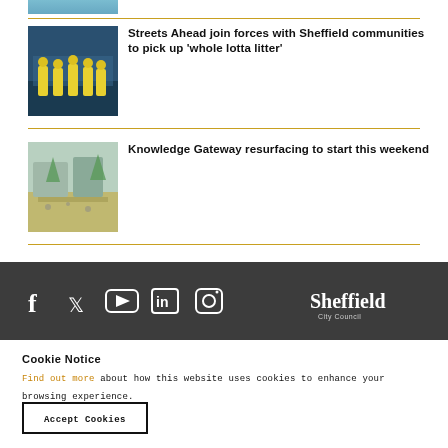[Figure (photo): Partial top of a photo, cropped]
Streets Ahead join forces with Sheffield communities to pick up ‘whole lotta litter’
[Figure (photo): Workers in yellow high-visibility vests]
Knowledge Gateway resurfacing to start this weekend
[Figure (photo): Aerial or street view of Knowledge Gateway area]
[Figure (screenshot): Sheffield City Council footer with social media icons (Facebook, Twitter, YouTube, LinkedIn, Instagram) and Sheffield City Council logo]
Cookie Notice
Find out more about how this website uses cookies to enhance your browsing experience.
Accept Cookies